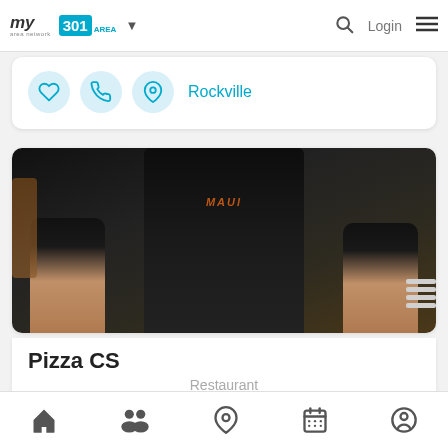my area network | 301 AREA | Login
[Figure (screenshot): Icon row with heart, phone, and location pin icons followed by 'Rockville' text link]
[Figure (photo): Photo of a person in a black t-shirt with tattoos on arms, holding food, restaurant setting]
Pizza CS
Restaurant
1596 Rockville Pike, Rockville MD, 20852
Traditional Neapolitan Pizzeria
Bottom navigation: Home, People, Location, Calendar, Profile